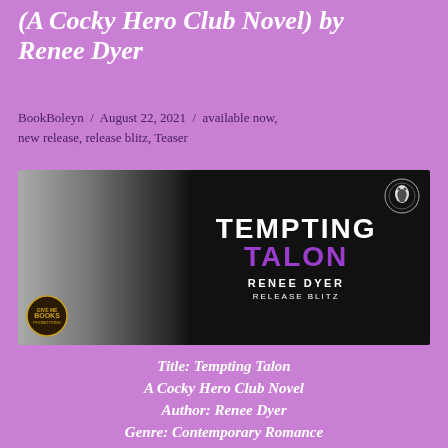(A Cocky Hero Club Novel) by Renee Dyer
BookBoleyn / August 22, 2021 / available now, new release, release blitz, Teaser
[Figure (photo): Book release banner for 'Tempting Talon' by Renee Dyer. Dark background with a man in a black beanie and jacket on the left. Text reads 'TEMPTING TALON' (Talon in purple), 'RENEE DYER', 'RELEASE BLITZ'. Cocky Hero Club goat logo top right, Give Me Books logo bottom left.]
Title: Tempting Talon
A Cocky Hero Club Novel
Author: Renee Dyer
Genre: Contemporary Romance